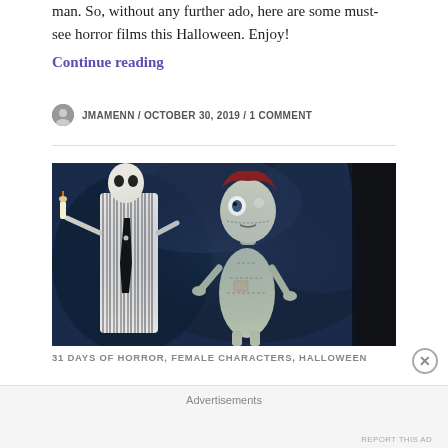man. So, without any further ado, here are some must-see horror films this Halloween. Enjoy!
Continue reading
JMAMENN / OCTOBER 30, 2019 / 1 COMMENT
[Figure (photo): Screenshot from The Nightmare Before Christmas showing Jack Skellington in a pinstripe suit on the left and Sally on the right against a dark blue background.]
31 DAYS OF HORROR, FEMALE CHARACTERS, HALLOWEEN
Advertisements